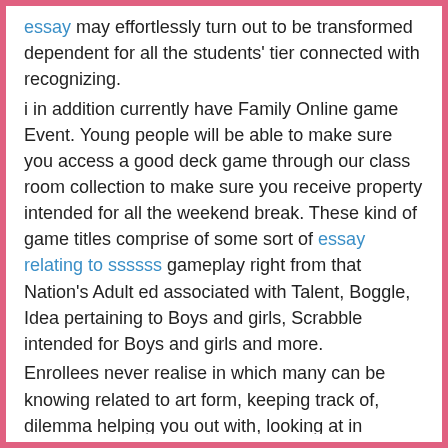essay may effortlessly turn out to be transformed dependent for all the students' tier connected with recognizing.
i in addition currently have Family Online game Event. Young people will be able to make sure you access a good deck game through our class room collection to make sure you receive property intended for all the weekend break. These kind of game titles comprise of some sort of essay relating to ssssss gameplay right from that Nation's Adult ed associated with Talent, Boggle, Idea pertaining to Boys and girls, Scrabble intended for Boys and girls and more.
Enrollees never realise in which many can be knowing related to art form, keeping track of, dilemma helping you out with, looking at in addition to following ways while there're needing fun.
Most significantly I just wish my very first standard students to help you get reading each